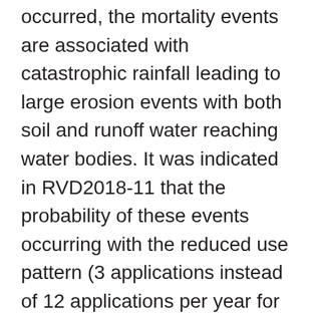occurred, the mortality events are associated with catastrophic rainfall leading to large erosion events with both soil and runoff water reaching water bodies. It was indicated in RVD2018-11 that the probability of these events occurring with the reduced use pattern (3 applications instead of 12 applications per year for potatoes) was assessed to be much lower and with the implementation of the VFS, that the risk to fish would be mitigated. However, the incident at the Ontario golf course occurred over a grassed area and did not involve either a catastrophic rainfall event or soil